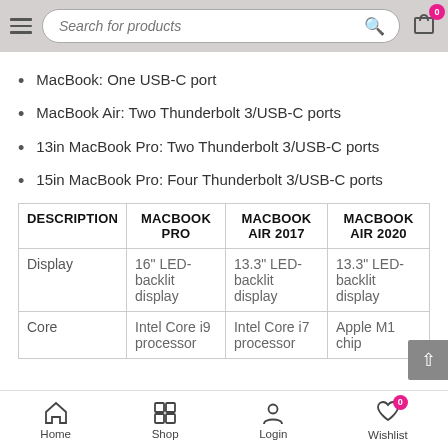Search for products
MacBook: One USB-C port
MacBook Air: Two Thunderbolt 3/USB-C ports
13in MacBook Pro: Two Thunderbolt 3/USB-C ports
15in MacBook Pro: Four Thunderbolt 3/USB-C ports
| DESCRIPTION | MACBOOK PRO | MACBOOK AIR 2017 | MACBOOK AIR 2020 |
| --- | --- | --- | --- |
| Display | 16" LED-backlit display | 13.3" LED-backlit display | 13.3" LED-backlit display |
| Core | Intel Core i9 processor | Intel Core i7 processor | Apple M1 chip |
Home  Shop  Login  Wishlist